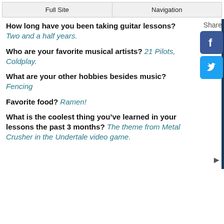Full Site | Navigation
How long have you been taking guitar lessons? Two and a half years.
Who are your favorite musical artists? 21 Pilots, Coldplay.
What are your other hobbies besides music? Fencing
Favorite food? Ramen!
What is the coolest thing you’ve learned in your lessons the past 3 months? The theme from Metal Crusher in the Undertale video game.